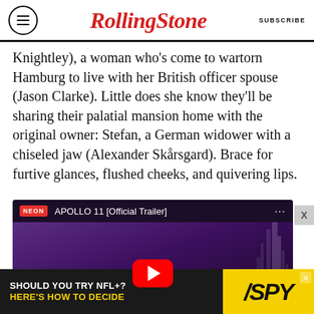RollingStone — SUBSCRIBE
Knightley), a woman who’s come to wartorn Hamburg to live with her British officer spouse (Jason Clarke). Little does she know they’ll be sharing their palatial mansion home with the original owner: Stefan, a German widower with a chiseled jaw (Alexander Skårsgard). Brace for furtive glances, flushed cheeks, and quivering lips.
[Figure (screenshot): YouTube video thumbnail for APOLLO 11 [Official Trailer] by NEON. Purple/dark background with rocket silhouette on the right, large 'APOLLO 11' text, and a YouTube play button in the center.]
[Figure (infographic): Advertisement banner: 'SHOULD YOU TRY NFL+? HERE’S HOW TO DECIDE' with SPY logo on dark background with yellow accent.]